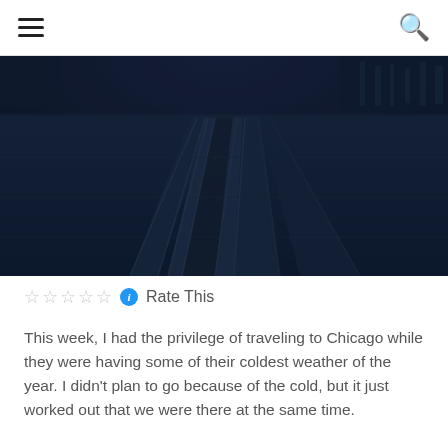☰   🔍
[Figure (photo): Dark blue-toned photograph of snow-covered railway tracks converging toward a horizon, taken from ground level, with multiple track lines visible in wintry conditions.]
☆☆☆☆☆ ℹ Rate This
This week, I had the privilege of traveling to Chicago while they were having some of their coldest weather of the year. I didn't plan to go because of the cold, but it just worked out that we were there at the same time.